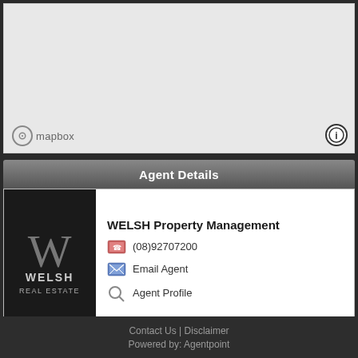[Figure (map): Mapbox map area — light grey blank map placeholder with Mapbox logo at bottom left and info button at bottom right]
Agent Details
[Figure (logo): Welsh Real Estate logo — white W monogram with WELSH REAL ESTATE text on black background]
WELSH Property Management
(08)92707200
Email Agent
Agent Profile
Back to Results
Contact Us | Disclaimer
Powered by: Agentpoint